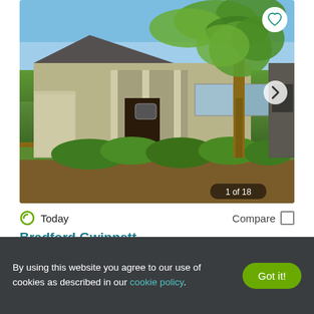[Figure (photo): Exterior photo of Bradford Gwinnett apartment/senior living building, a ranch-style structure with a covered entrance, columns, surrounding shrubs, and a large tree in front; blue sky background. Shows '1 of 18' counter.]
Today
Compare
Bradford Gwinnett
100 Castor Drive, Norcross, GA 30071
Contact for availability
Verified
By using this website you agree to our use of cookies as described in our cookie policy.